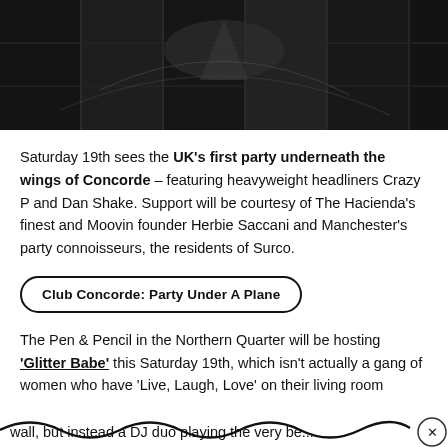[Figure (photo): Black and white photograph showing the underside/wings of a Concorde aircraft from below, with geometric glass ceiling/structure visible]
Saturday 19th sees the UK's first party underneath the wings of Concorde – featuring heavyweight headliners Crazy P and Dan Shake. Support will be courtesy of The Hacienda's finest and Moovin founder Herbie Saccani and Manchester's party connoisseurs, the residents of Surco.
Club Concorde: Party Under A Plane
The Pen & Pencil in the Northern Quarter will be hosting 'Glitter Babe' this Saturday 19th, which isn't actually a gang of women who have 'Live, Laugh, Love' on their living room wall, but instead a DJ duo playing the very be...